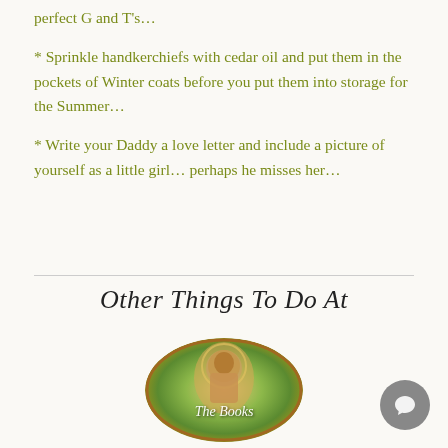perfect G and T's...
* Sprinkle handkerchiefs with cedar oil and put them in the pockets of Winter coats before you put them into storage for the Summer...
* Write your Daddy a love letter and include a picture of yourself as a little girl... perhaps he misses her...
Other Things To Do At
[Figure (illustration): A circular book cover image showing a vintage-style illustration of a woman in ornate clothing with decorative background, with the text 'The Books' overlaid in italic script]